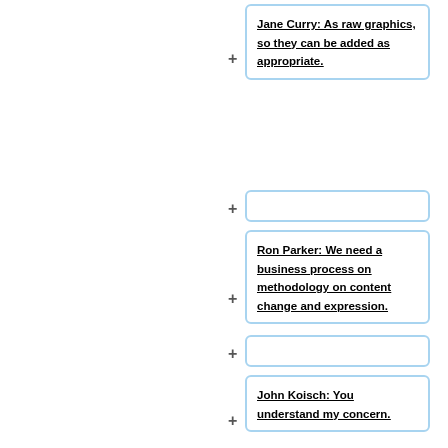Jane Curry:  As raw graphics, so they can be added as appropriate.
Ron Parker: We need a business process on methodology on content change and expression.
John Koisch: You understand my concern.
Jane Curry:  We just need to understand the toolkit.  We need to make changes in diagrams.